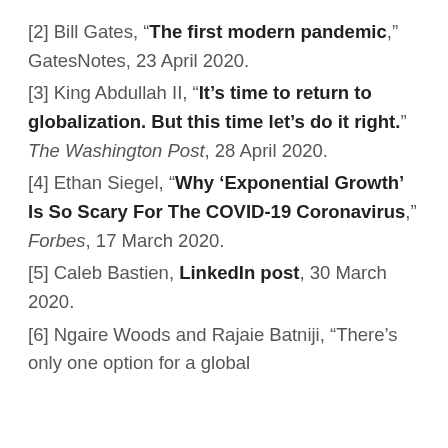[2] Bill Gates, “The first modern pandemic,” GatesNotes, 23 April 2020.
[3] King Abdullah II, “It’s time to return to globalization. But this time let’s do it right.” The Washington Post, 28 April 2020.
[4] Ethan Siegel, “Why ‘Exponential Growth’ Is So Scary For The COVID-19 Coronavirus,” Forbes, 17 March 2020.
[5] Caleb Bastien, LinkedIn post, 30 March 2020.
[6] Ngaire Woods and Rajaie Batniji, “There’s only one option for a global